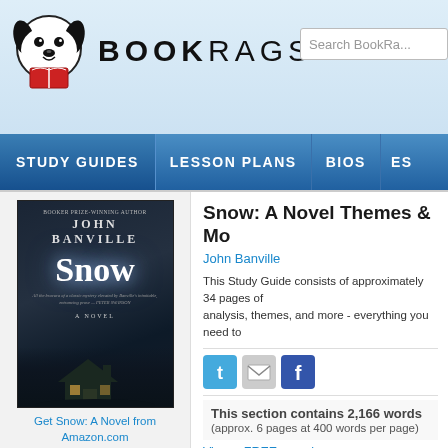[Figure (logo): BookRags logo with dog mascot and book icon, text BOOKRAGS in bold letters]
[Figure (screenshot): Search BookRags input box in upper right]
STUDY GUIDES | LESSON PLANS | BIOS | ES...
[Figure (photo): Book cover of Snow: A Novel by John Banville, dark blue night scene with house]
Get Snow: A Novel from Amazon.com
Snow: A Novel Themes & Mo...
John Banville
This Study Guide consists of approximately 34 pages of analysis, themes, and more - everything you need to...
[Figure (other): Social sharing icons: Twitter, Email, Facebook]
This section contains 2,166 words
(approx. 6 pages at 400 words per page)
View a FREE sample
Secrets
Partially because this novel is a mystery nov...